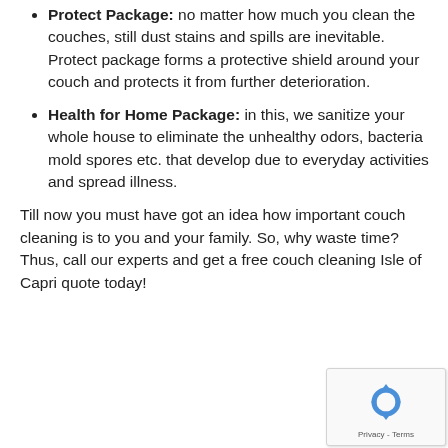Protect Package: no matter how much you clean the couches, still dust stains and spills are inevitable. Protect package forms a protective shield around your couch and protects it from further deterioration.
Health for Home Package: in this, we sanitize your whole house to eliminate the unhealthy odors, bacteria mold spores etc. that develop due to everyday activities and spread illness.
Till now you must have got an idea how important couch cleaning is to you and your family. So, why waste time? Thus, call our experts and get a free couch cleaning Isle of Capri quote today!
[Figure (other): reCAPTCHA widget with rotating arrows logo and Privacy - Terms footer text]